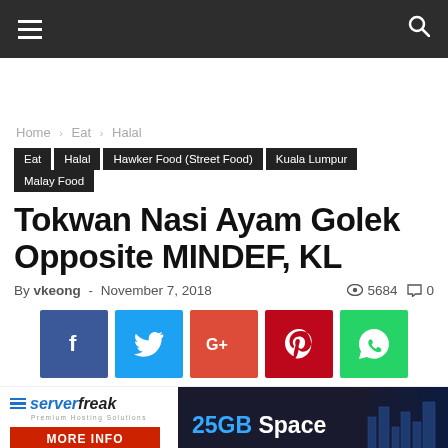Navigation bar with hamburger menu and search icon
Home › Eat › Halal
Eat  Halal  Hawker Food (Street Food)  Kuala Lumpur  Malay Food
Tokwan Nasi Ayam Golek Opposite MINDEF, KL
By vkeong - November 7, 2018  5684  0
[Figure (other): Social share buttons: Facebook, Twitter, Google+, Pinterest, WhatsApp]
[Figure (other): ServerFreak hosting banner with 25GB Space offer and MORE INFO button]
[Figure (photo): Food photo at bottom of page]